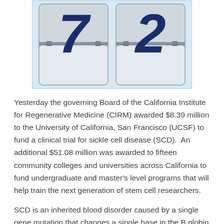[Figure (illustration): A flip-board style calendar or scoreboard graphic showing the number 72, with two large dark navy digit tiles on a light blue background with a white border. The '7' is on the left tile and '2' is on the right tile.]
Yesterday the governing Board of the California Institute for Regenerative Medicine (CIRM) awarded $8.39 million to the University of California, San Francisco (UCSF) to fund a clinical trial for sickle cell disease (SCD).  An additional $51.08 million was awarded to fifteen community colleges and universities across California to fund undergraduate and master's level programs that will help train the next generation of stem cell researchers.
SCD is an inherited blood disorder caused by a single gene mutation that changes a single base in the B globin